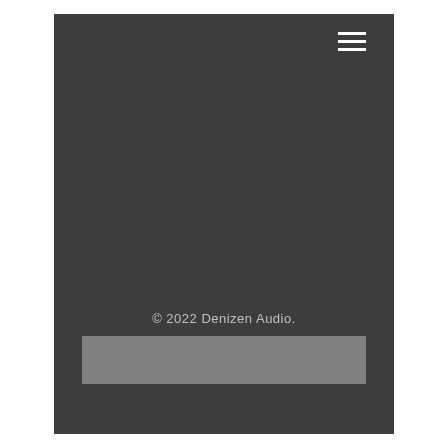[Figure (other): Hamburger menu icon with three horizontal white lines]
© 2022 Denizen Audio.
[Figure (other): Gray rectangular bar at the bottom of the page]